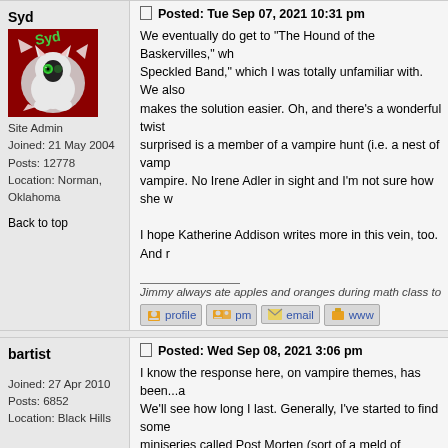Syd
[Figure (illustration): Avatar image: cartoon cat with green eyes breaking through a red background, with 'Syd' text in green]
Site Admin
Joined: 21 May 2004
Posts: 12778
Location: Norman, Oklahoma
Back to top
Posted: Tue Sep 07, 2021 10:31 pm
We eventually do get to "The Hound of the Baskervilles," wh Speckled Band," which I was totally unfamiliar with. We also makes the solution easier. Oh, and there's a wonderful twist surprised is a member of a vampire hunt (i.e. a nest of vamp vampire. No Irene Adler in sight and I'm not sure how she w
I hope Katherine Addison writes more in this vein, too. And r
Jimmy always ate apples and oranges during math class to
profile  pm  email  www
bartist
Posted: Wed Sep 08, 2021 3:06 pm
I know the response here, on vampire themes, has been...a We'll see how long I last. Generally, I've started to find some miniseries called Post Morten (sort of a meld of "Fargo" and raising the dead.
Joined: 27 Apr 2010
Posts: 6852
Location: Black Hills
He was wise beyond his years, but only by a few days.